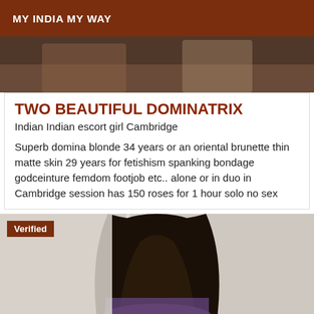MY INDIA MY WAY
[Figure (photo): Top partial photo showing blurred figures with warm brown tones]
TWO BEAUTIFUL DOMINATRIX
Indian Indian escort girl Cambridge
Superb domina blonde 34 years or an oriental brunette thin matte skin 29 years for fetishism spanking bondage godceinture femdom footjob etc.. alone or in duo in Cambridge session has 150 roses for 1 hour solo no sex
[Figure (photo): Photo of a person with long dark curly hair viewed from behind, wearing purple, with a Verified badge overlay]